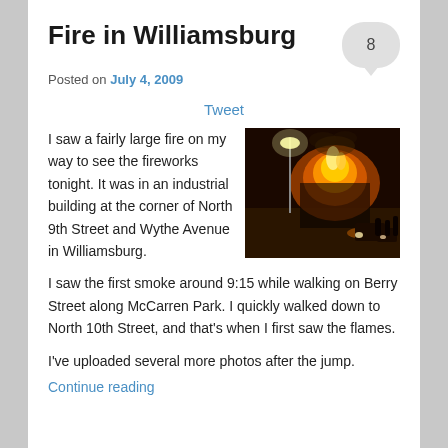Fire in Williamsburg
Posted on July 4, 2009
Tweet
I saw a fairly large fire on my way to see the fireworks tonight. It was in an industrial building at the corner of North 9th Street and Wythe Avenue in Williamsburg.
[Figure (photo): Night-time photo of a large fire at a building, with flames and orange glow visible, street lights and cars in the foreground.]
I saw the first smoke around 9:15 while walking on Berry Street along McCarren Park. I quickly walked down to North 10th Street, and that's when I first saw the flames.
I've uploaded several more photos after the jump.
Continue reading →